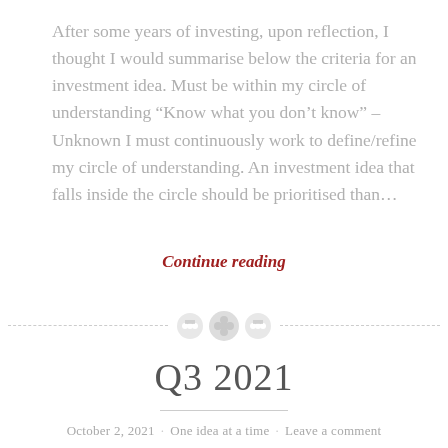After some years of investing, upon reflection, I thought I would summarise below the criteria for an investment idea. Must be within my circle of understanding “Know what you don’t know” – Unknown I must continuously work to define/refine my circle of understanding. An investment idea that falls inside the circle should be prioritised than…
Continue reading
Q3 2021
October 2, 2021 · One idea at a time · Leave a comment
General During the quarter, the yield curve continues to